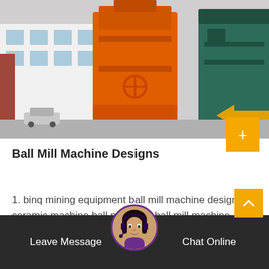[Figure (photo): Industrial milling machines — large orange vertical mill in center foreground and dark green cylindrical mill to the right, photographed in a factory yard with a white industrial building in the background.]
Ball Mill Machine Designs
1. binq mining equipment ball mill machine designs, ceramic machine ball mill mtd , ball mill machine malaysia supplier , alpine air…
Leave Message   Chat Online